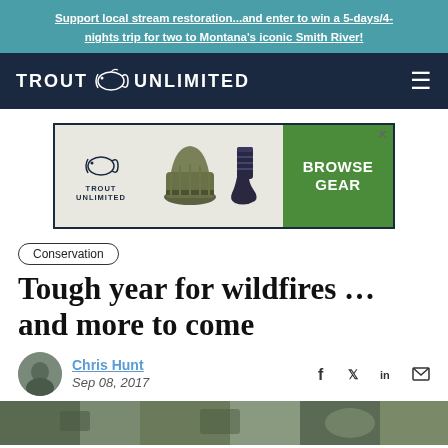Support local stream restoration...and enter to win a 5-days/4-nights trip for two to Montana's iconic Smith River!
[Figure (logo): Trout Unlimited logo with fish icon on dark navy navigation bar]
[Figure (illustration): Advertisement for Trout Unlimited gear featuring a beanie hat and socks with Browse Gear button]
Conservation
Tough year for wildfires ... and more to come
Chris Hunt
Sep 08, 2017
[Figure (photo): Bottom partial image of wilderness/stream scene]